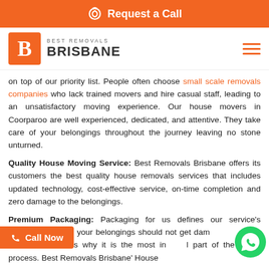Request a Call
[Figure (logo): Best Removals Brisbane logo — orange square with letter B, company name text]
on top of our priority list. People often choose small scale removals companies who lack trained movers and hire casual staff, leading to an unsatisfactory moving experience. Our house movers in Coorparoo are well experienced, dedicated, and attentive. They take care of your belongings throughout the journey leaving no stone unturned.
Quality House Moving Service: Best Removals Brisbane offers its customers the best quality house removals services that includes updated technology, cost-effective service, on-time completion and zero damage to the belongings.
Premium Packaging: Packaging for us defines our service's standard because your belongings should not get damaged solely in the end. That's why it is the most integral part of the whole process. Best Removals Brisbane' House Removals at Coorparoo ensures that your belongings